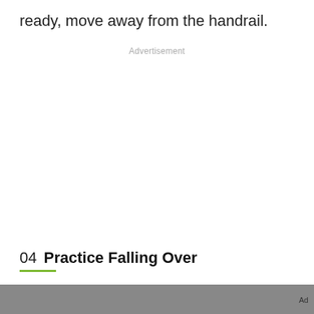ready, move away from the handrail.
Advertisement
04  Practice Falling Over
[Figure (photo): Partially visible photograph at the bottom of the page with an Ad label in the bottom right corner]